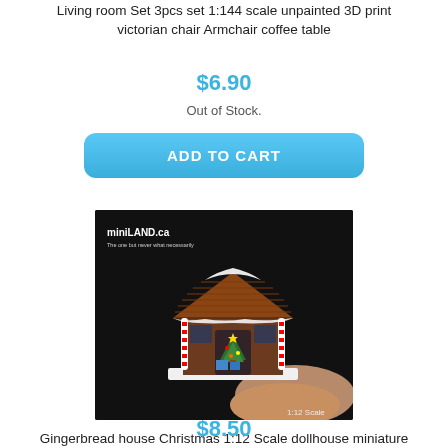Living room Set 3pcs set 1:144 scale unpainted 3D print victorian chair Armchair coffee table
$6.90
Out of Stock.
ADD TO CART
[Figure (photo): Photo of a miniature gingerbread house being held by fingers, Christmas themed, 1:12 scale, with watermark miniLAND.ca]
Gingerbread house Christmas 1:12 Scale dollhouse miniature handmade food GBHC2
$8.50